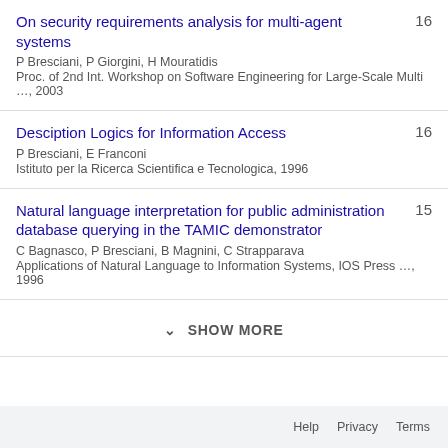On security requirements analysis for multi-agent systems
P Bresciani, P Giorgini, H Mouratidis
Proc. of 2nd Int. Workshop on Software Engineering for Large-Scale Multi …, 2003
16
Desciption Logics for Information Access
P Bresciani, E Franconi
Istituto per la Ricerca Scientifica e Tecnologica, 1996
16
Natural language interpretation for public administration database querying in the TAMIC demonstrator
C Bagnasco, P Bresciani, B Magnini, C Strapparava
Applications of Natural Language to Information Systems, IOS Press …, 1996
15
SHOW MORE
Help  Privacy  Terms